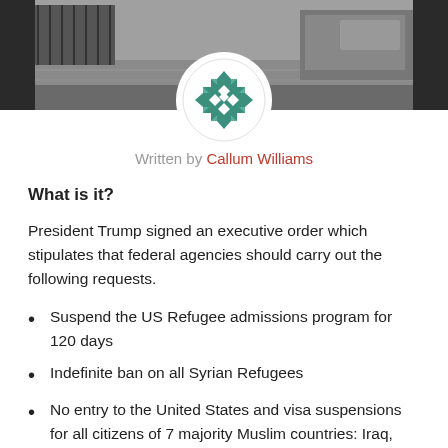[Figure (photo): Background photo of what appears to be a street or crowd scene, partially visible at the top of the page]
[Figure (logo): Circular logo with a teal/green geometric quilt-like cross pattern on white background]
Written by Callum Williams
What is it?
President Trump signed an executive order which stipulates that federal agencies should carry out the following requests.
Suspend the US Refugee admissions program for 120 days
Indefinite ban on all Syrian Refugees
No entry to the United States and visa suspensions for all citizens of 7 majority Muslim countries: Iraq, Syria, Iran, Libya, Somalia, Sudan and Yemen for 90 days. (Note Dual nationals will not be affected if they travel on a non-banned passport, according to the Trump